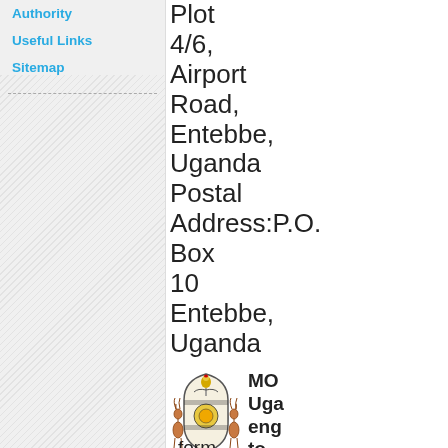Authority
Useful Links
Sitemap
Plot 4/6, Airport Road, Entebbe, Uganda Postal Address:P.O. Box 10 Entebbe, Uganda
[Figure (illustration): Uganda national coat of arms — two antelopes flanking a shield with a crane on top, and a sun symbol in the center]
MO Uganda eng to form joint